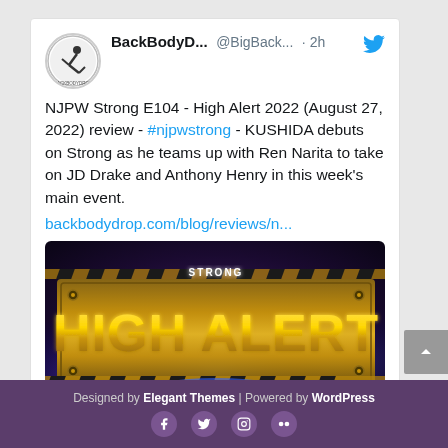BackBodyD... @BigBack... · 2h
NJPW Strong E104 - High Alert 2022 (August 27, 2022) review - #njpwstrong - KUSHIDA debuts on Strong as he teams up with Ren Narita to take on JD Drake and Anthony Henry in this week's main event.
backbodydrop.com/blog/reviews/n...
[Figure (photo): NJPW Strong High Alert 2022 promotional banner — gold metallic 'HIGH ALERT' text with 'STRONG' logo above, dark dramatic background with purple and blue lighting effects]
Designed by Elegant Themes | Powered by WordPress